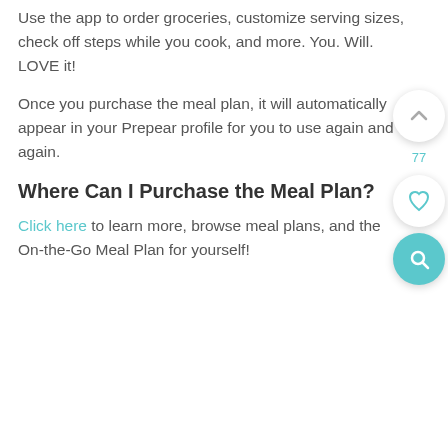Use the app to order groceries, customize serving sizes, check off steps while you cook, and more. You. Will. LOVE it!
Once you purchase the meal plan, it will automatically appear in your Prepear profile for you to use again and again.
Where Can I Purchase the Meal Plan?
Click here to learn more, browse meal plans, and the On-the-Go Meal Plan for yourself!